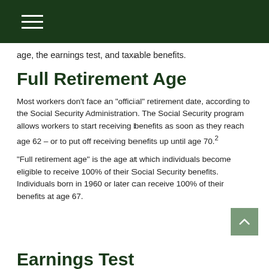age, the earnings test, and taxable benefits.
Full Retirement Age
Most workers don't face an "official" retirement date, according to the Social Security Administration. The Social Security program allows workers to start receiving benefits as soon as they reach age 62 – or to put off receiving benefits up until age 70.²
"Full retirement age" is the age at which individuals become eligible to receive 100% of their Social Security benefits. Individuals born in 1960 or later can receive 100% of their benefits at age 67.
Earnings Test